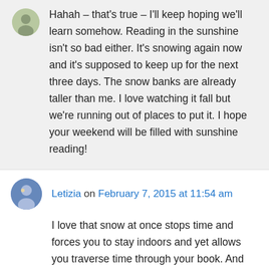[Figure (photo): Small circular avatar photo of a person at top left of comment]
Hahah – that's true – I'll keep hoping we'll learn somehow. Reading in the sunshine isn't so bad either. It's snowing again now and it's supposed to keep up for the next three days. The snow banks are already taller than me. I love watching it fall but we're running out of places to put it. I hope your weekend will be filled with sunshine reading!
[Figure (photo): Small circular avatar photo of Letizia]
Letizia on February 7, 2015 at 11:54 am
I love that snow at once stops time and forces you to stay indoors and yet allows you traverse time through your book. And that photo of your